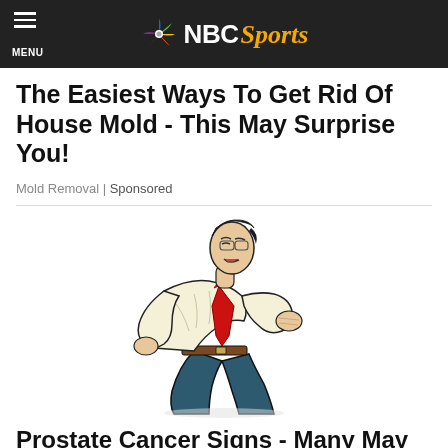NBC Sports
The Easiest Ways To Get Rid Of House Mold - This May Surprise You!
Mold Removal | Sponsored
[Figure (illustration): Pop-art style illustration of a man in a white shirt and red tie, bent over in pain holding his lower back, with a grimacing expression]
Prostate Cancer Signs - Many May Wish They Identified Sooner